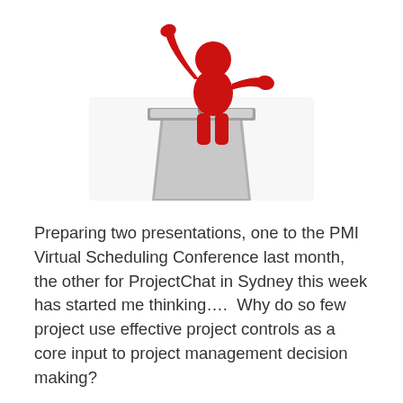[Figure (illustration): A red 3D cartoon figure of a person standing at a grey podium/lectern, raising one hand as if presenting or speaking.]
Preparing two presentations, one to the PMI Virtual Scheduling Conference last month, the other for ProjectChat in Sydney this week has started me thinking….  Why do so few project use effective project controls as a core input to project management decision making?
Most projects that have project controls staff seem to use them for forensics, claims and to meet client imposed obligations rather than as 'trusted advisers' to the project manager and project decision making teams.  Many more,